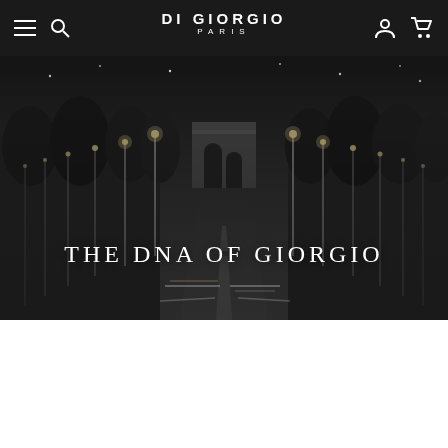DI GIORGIO PARIS
[Figure (photo): Black and white nighttime photograph of the Champs-Élysées in Paris, looking toward the Arc de Triomphe, with light trails from cars and rows of illuminated street lamps lining both sides of the avenue. Trees are visible on both sides.]
THE DNA OF GIORGIO